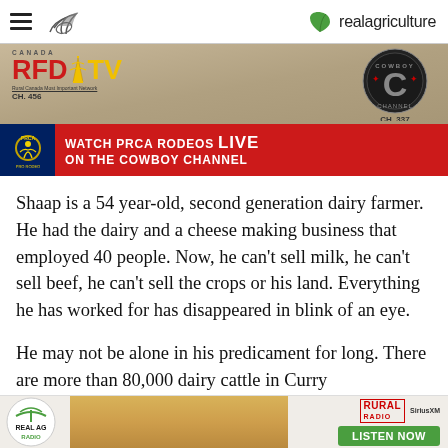realagriculture
[Figure (photo): Advertisement banner for RFD-TV Canada (CH. 456) and Cowboy Channel (CH. 337) — Watch PRCA Rodeos LIVE on the Cowboy Channel]
Shaap is a 54 year-old, second generation dairy farmer. He had the dairy and a cheese making business that employed 40 people. Now, he can't sell milk, he can't sell beef, he can't sell the crops or his land. Everything he has worked for has disappeared in blink of an eye.
He may not be alone in his predicament for long. There are more than 80,000 dairy cattle in Curry
[Figure (photo): Bottom advertisement banner for Real AG Radio with Rural Radio and SiriusXM — Listen Now button]